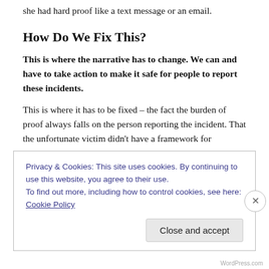she had hard proof like a text message or an email.
How Do We Fix This?
This is where the narrative has to change. We can and have to take action to make it safe for people to report these incidents.
This is where it has to be fixed – the fact the burden of proof always falls on the person reporting the incident. That the unfortunate victim didn't have a framework for
Privacy & Cookies: This site uses cookies. By continuing to use this website, you agree to their use.
To find out more, including how to control cookies, see here: Cookie Policy
Close and accept